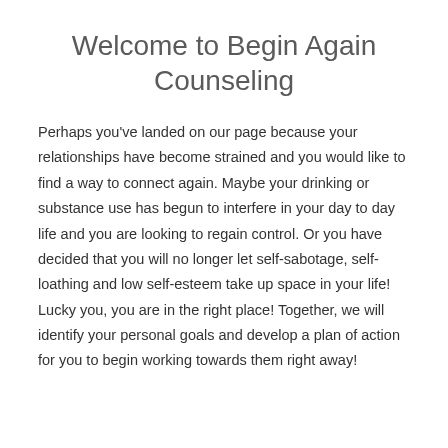Welcome to Begin Again Counseling
Perhaps you've landed on our page because your relationships have become strained and you would like to find a way to connect again. Maybe your drinking or substance use has begun to interfere in your day to day life and you are looking to regain control. Or you have decided that you will no longer let self-sabotage, self-loathing and low self-esteem take up space in your life! Lucky you, you are in the right place! Together, we will identify your personal goals and develop a plan of action for you to begin working towards them right away!